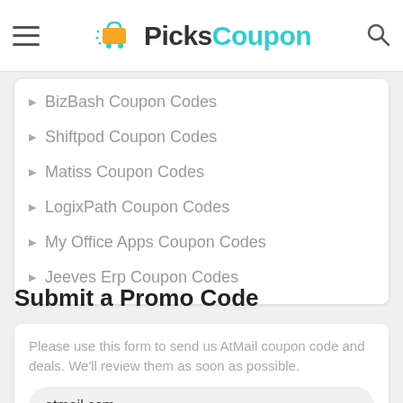[Figure (logo): PicksCoupon logo with shopping cart icon, hamburger menu on left, search icon on right]
BizBash Coupon Codes
Shiftpod Coupon Codes
Matiss Coupon Codes
LogixPath Coupon Codes
My Office Apps Coupon Codes
Jeeves Erp Coupon Codes
Submit a Promo Code
Please use this form to send us AtMail coupon code and deals. We'll review them as soon as possible.
atmail.com
Coupon Code
E.g. GET20